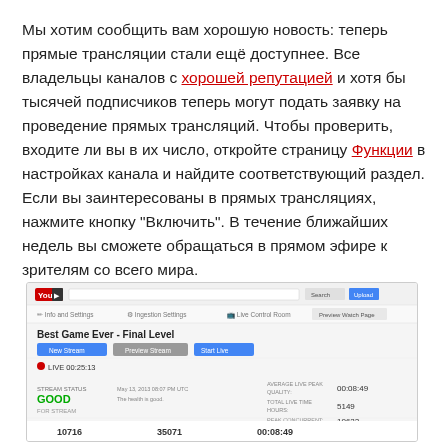Мы хотим сообщить вам хорошую новость: теперь прямые трансляции стали ещё доступнее. Все владельцы каналов с хорошей репутацией и хотя бы тысячей подписчиков теперь могут подать заявку на проведение прямых трансляций. Чтобы проверить, входите ли вы в их число, откройте страницу Функции в настройках канала и найдите соответствующий раздел. Если вы заинтересованы в прямых трансляциях, нажмите кнопку "Включить". В течение ближайших недель вы сможете обращаться в прямом эфире к зрителям со всего мира.
[Figure (screenshot): Screenshot of YouTube Live Control Room interface showing 'Best Game Ever - Final Level' stream with GOOD stream status, analytics tab, view statistics showing 10716, 35071, 00:08:49]